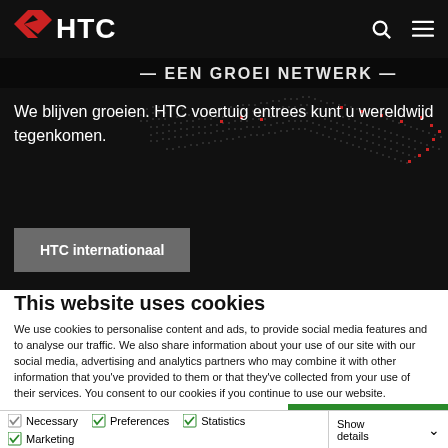HTC
[Figure (map): World map with red dots indicating HTC international locations on dark background]
EEN GROEI NETWERK
We blijven groeien. HTC voertuig entrees kunt u wereldwijd tegenkomen.
HTC internationaal
This website uses cookies
We use cookies to personalise content and ads, to provide social media features and to analyse our traffic. We also share information about your use of our site with our social media, advertising and analytics partners who may combine it with other information that you've provided to them or that they've collected from your use of their services. You consent to our cookies if you continue to use our website.
OK
Necessary
Preferences
Statistics
Marketing
Show details